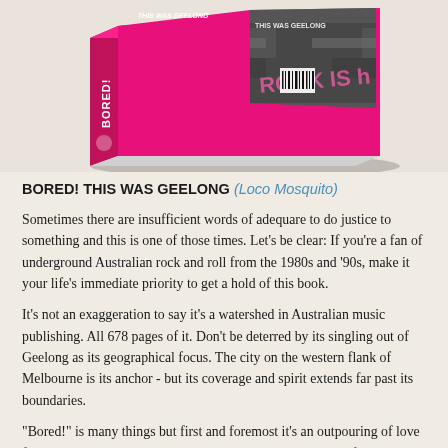[Figure (photo): A pink-covered book titled 'BORED! THIS WAS GEELONG', shown in a tilted perspective with black and white photo on the cover, displayed against a light beige background.]
BORED! THIS WAS GEELONG (Loco Mosquito)
Sometimes there are insufficient words of adequare to do justice to something and this is one of those times. Let's be clear: If you're a fan of underground Australian rock and roll from the 1980s and '90s, make it your life's immediate priority to get a hold of this book.
It's not an exaggeration to say it's a watershed in Australian music publishing. All 678 pages of it. Don't be deterred by its singling out of Geelong as its geographical focus. The city on the western flank of Melbourne is its anchor - but its coverage and spirit extends far past its boundaries.
"Bored!" is many things but first and foremost it's an outpouring of love for rock and roll by its creator, principal author and driving force Maree Robertson.